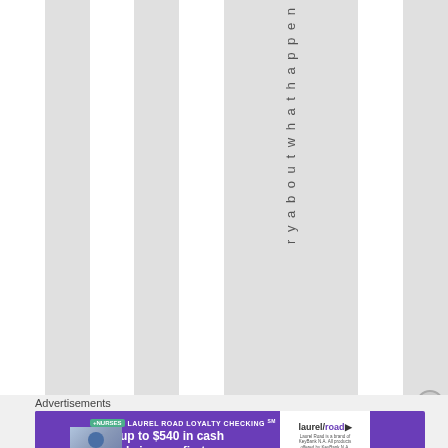[Figure (other): Webpage screenshot showing vertical striped column layout with alternating white and gray columns. One gray column contains vertical text reading 'r y a b o u t w h a t h a p p e n'. A close/dismiss button (circled X) is visible at the right. Below the columns is an advertisement banner for Laurel Road Loyalty Checking with text 'Earn up to $540 in cash rewards in your first year.' showing a nurse and the Laurel Road logo.]
Advertisements
Earn up to $540 in cash rewards in your first year.